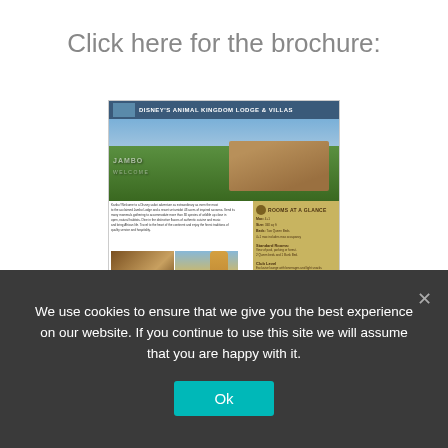Click here for the brochure:
[Figure (photo): Screenshot of a Disney's Animal Kingdom Lodge & Villas brochure showing an aerial/landscape photo of the lodge surrounded by trees, interior dining photo, giraffe photo, floor plan, and a right sidebar with 'Rooms at a Glance' and 'Recreation' sections on a tan/gold background.]
We use cookies to ensure that we give you the best experience on our website. If you continue to use this site we will assume that you are happy with it.